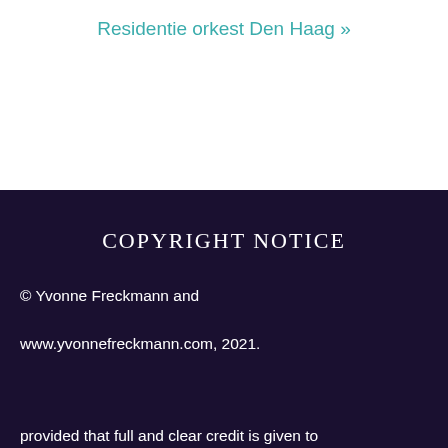Residentie orkest Den Haag »
COPYRIGHT NOTICE
© Yvonne Freckmann and www.yvonnefreckmann.com, 2021.
Privacy & Cookies: This site uses cookies. By continuing to use this website, you agree to their use.
To find out more, including how to control cookies, see here: Cookie Policy
Close and accept
provided that full and clear credit is given to